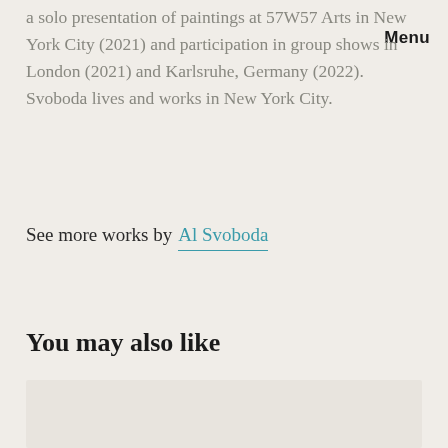Menu
a solo presentation of paintings at 57W57 Arts in New York City (2021) and participation in group shows in London (2021) and Karlsruhe, Germany (2022). Svoboda lives and works in New York City.
See more works by Al Svoboda
You may also like
[Figure (photo): Partial image placeholder at bottom of page]